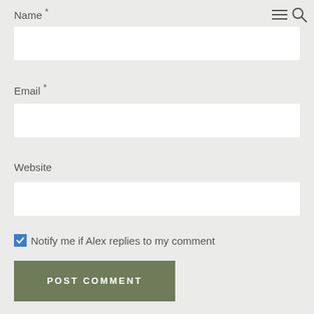Name *
[Figure (screenshot): Empty text input field for Name]
Email *
[Figure (screenshot): Empty text input field for Email]
Website
[Figure (screenshot): Empty text input field for Website]
Notify me if Alex replies to my comment
POST COMMENT